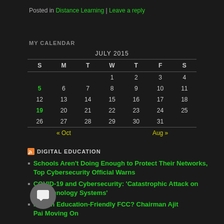Posted in Distance Learning | Leave a reply
MY CALENDAR
| S | M | T | W | T | F | S |
| --- | --- | --- | --- | --- | --- | --- |
|  |  |  | 1 | 2 | 3 | 4 |
| 5 | 6 | 7 | 8 | 9 | 10 | 11 |
| 12 | 13 | 14 | 15 | 16 | 17 | 18 |
| 19 | 20 | 21 | 22 | 23 | 24 | 25 |
| 26 | 27 | 28 | 29 | 30 | 31 |  |
| « Oct |  |  |  |  | Aug » |  |
DIGITAL EDUCATION
Schools Aren't Doing Enough to Protect Their Networks, Top Cybersecurity Official Warns
COVID-19 and Cybersecurity: 'Catastrophic Attack on ur Technology Systems'
n of an Education-Friendly FCC? Chairman Ajit Pai Moving On